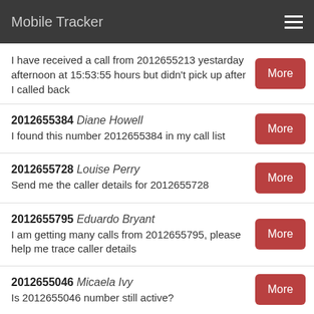Mobile Tracker
I have received a call from 2012655213 yestarday afternoon at 15:53:55 hours but didn't pick up after I called back
2012655384 Diane Howell
I found this number 2012655384 in my call list
2012655728 Louise Perry
Send me the caller details for 2012655728
2012655795 Eduardo Bryant
I am getting many calls from 2012655795, please help me trace caller details
2012655046 Micaela Ivy
Is 2012655046 number still active?